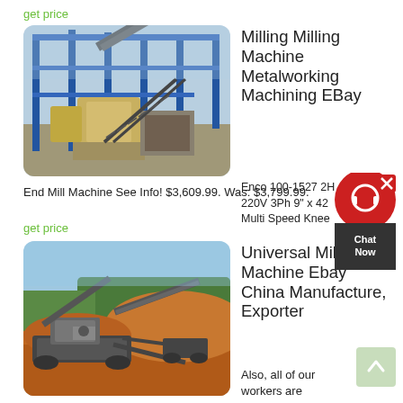get price
[Figure (photo): Large industrial milling/crushing machine with blue steel frame and yellow components]
Milling Milling Machine Metalworking Machining EBay
Enco 100-1527 2HP 220V 3Ph 9" x 42" Multi Speed Knee End Mill Machine See Info! $3,609.99. Was: $3,799.99.
get price
[Figure (photo): Mobile crushing/screening plant on a construction/mining site with conveyor belts, trees and orange dirt in background]
Universal Milling Machine Ebay China Manufacture, Exporter
Also, all of our workers are